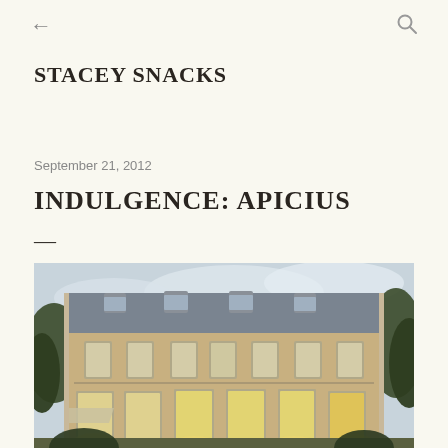← [back] [search]
STACEY SNACKS
September 21, 2012
INDULGENCE: APICIUS
—
[Figure (photo): Exterior photo of Apicius restaurant in Paris — a grand Haussmann-style stone mansion building illuminated at dusk, with tall French windows, mansard roof, and trees surrounding it.]